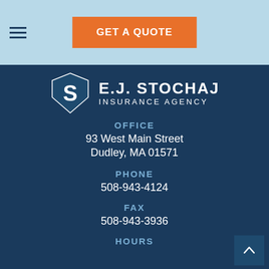[Figure (logo): Hamburger menu icon (three horizontal lines)]
[Figure (other): Orange 'GET A QUOTE' call-to-action button]
[Figure (logo): E.J. Stochaj Insurance Agency logo with shield/S emblem]
OFFICE
93 West Main Street
Dudley, MA 01571
PHONE
508-943-4124
FAX
508-943-3936
HOURS
Monday - Friday...